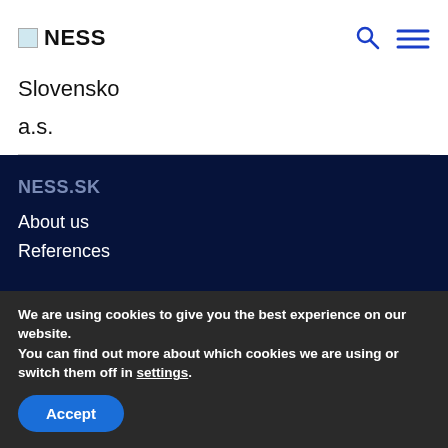NESS
Slovensko
a.s.
NESS.SK
About us
References
We are using cookies to give you the best experience on our website.
You can find out more about which cookies we are using or switch them off in settings.
Accept